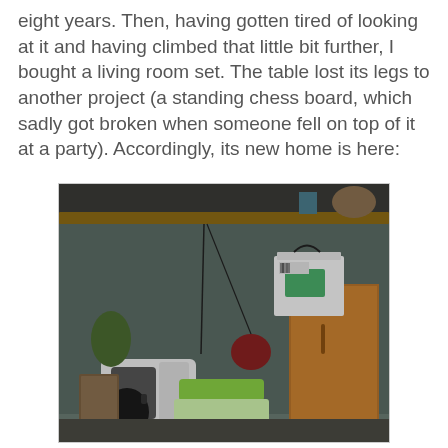eight years. Then, having gotten tired of looking at it and having climbed that little bit further, I bought a living room set. The table lost its legs to another project (a standing chess board, which sadly got broken when someone fell on top of it at a party). Accordingly, its new home is here:
[Figure (photo): A cluttered storage or utility room with a wooden shelf near the ceiling, wires hanging down a grey-green wall. On the floor there is a white appliance (possible air purifier or printer), stacked green-lidded plastic containers, a black kettle, and in the background a wooden cabinet with a white paper bag on top.]